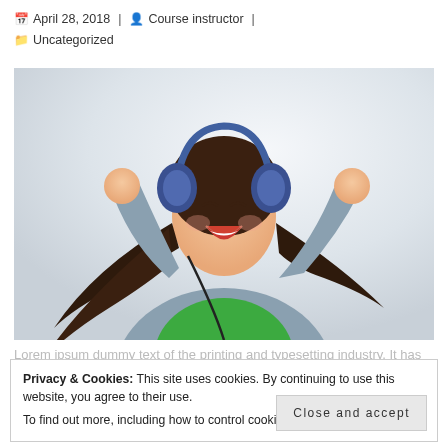April 28, 2018  |  Course instructor  |  Uncategorized
[Figure (photo): Young woman dancing joyfully with headphones on, wearing a green shirt and grey jacket, hair flying, white background]
Lorem ipsum dummy text of the printing and typesetting industry. It has been the industry's standard dummy text ever since the 1500s, when an unknown printer took a galley of type and scrambled it to make a type specimen book.
Privacy & Cookies: This site uses cookies. By continuing to use this website, you agree to their use. To find out more, including how to control cookies, see here: Cookie Policy
Close and accept